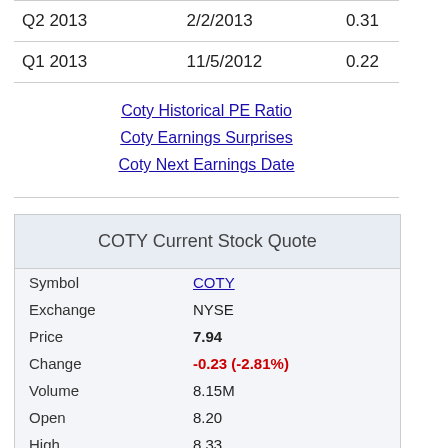| Quarter | Date | Value |
| --- | --- | --- |
| Q2 2013 | 2/2/2013 | 0.31 |
| Q1 2013 | 11/5/2012 | 0.22 |
Coty Historical PE Ratio
Coty Earnings Surprises
Coty Next Earnings Date
COTY Current Stock Quote
| Field | Value |
| --- | --- |
| Symbol | COTY |
| Exchange | NYSE |
| Price | 7.94 |
| Change | -0.23 (-2.81%) |
| Volume | 8.15M |
| Open | 8.20 |
| High | 8.33 |
| Low | 7.93 |
| Prev. Close | 8.17 |
| Shares Out | 839.11M |
| Market Cap | 6.66B |